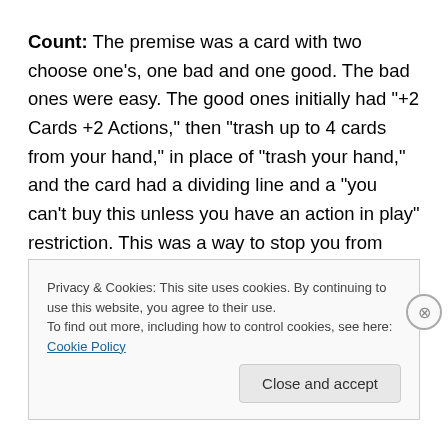Count: The premise was a card with two choose one's, one bad and one good. The bad ones were easy. The good ones initially had "+2 Cards +2 Actions," then "trash up to 4 cards from your hand," in place of "trash your hand," and the card had a dividing line and a "you can't buy this unless you have an action in play" restriction. This was a way to stop you from getting it turn one, and was kind of nice otherwise. It was just way too much text though. So I made the Chapel a little harder to use, moved the bad choice to before the good choice so it would only
Privacy & Cookies: This site uses cookies. By continuing to use this website, you agree to their use.
To find out more, including how to control cookies, see here: Cookie Policy
Close and accept